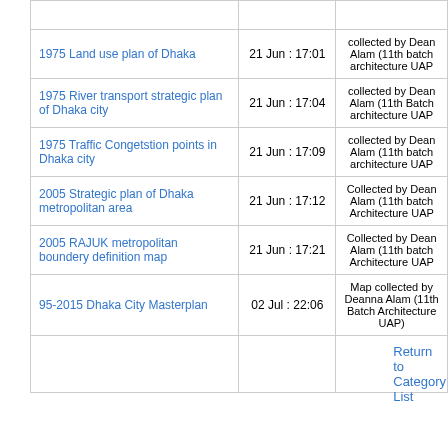| Title | Date | Contributor |
| --- | --- | --- |
| 1975 Land use plan of Dhaka | 21 Jun : 17:01 | collected by Dean Alam (11th batch architecture UAP |
| 1975 River transport strategic plan of Dhaka city | 21 Jun : 17:04 | collected by Dean Alam (11th Batch architecture UAP |
| 1975 Traffic Congetstion points in Dhaka city | 21 Jun : 17:09 | collected by Dean Alam (11th batch architecture UAP |
| 2005 Strategic plan of Dhaka metropolitan area | 21 Jun : 17:12 | Collected by Dean Alam (11th batch Architecture UAP |
| 2005 RAJUK metropolitan boundery definition map | 21 Jun : 17:21 | Collected by Dean Alam (11th batch Architecture UAP |
| 95-2015 Dhaka City Masterplan | 02 Jul : 22:06 | Map collected by Deanna Alam (11th Batch Architecture UAP) |
|  |  |  |
Return to Category List